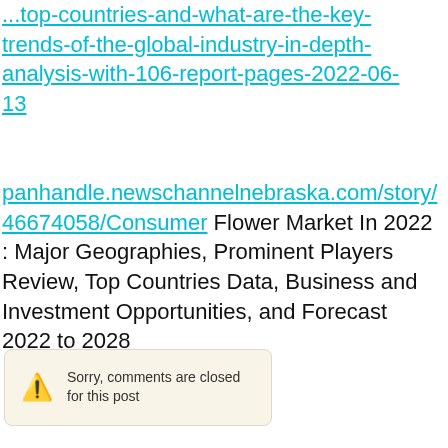...top-countries-and-what-are-the-key-trends-of-the-global-industry-in-depth-analysis-with-106-report-pages-2022-06-13
panhandle.newschannelnebraska.com/story/46674058/Consumer Flower Market In 2022 : Major Geographies, Prominent Players Review, Top Countries Data, Business and Investment Opportunities, and Forecast 2022 to 2028
Sorry, comments are closed for this post